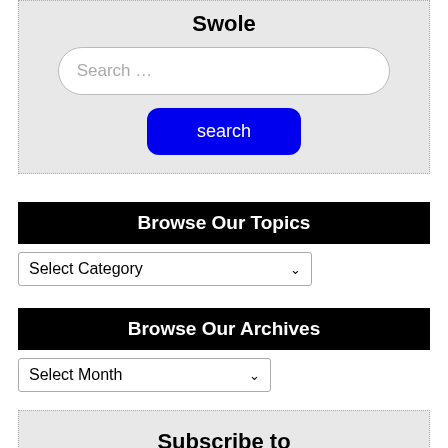Swole
[Figure (screenshot): Search input box with placeholder text 'Search ...']
[Figure (screenshot): Blue search button labeled 'search']
Browse Our Topics
[Figure (screenshot): Dropdown select box labeled 'Select Category']
Browse Our Archives
[Figure (screenshot): Dropdown select box labeled 'Select Month']
Subscribe to Updates